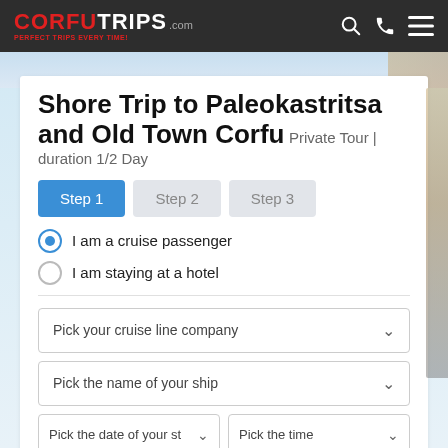CORFU TRIPS .com — PERFECT TRIPS EVERY TIME!
Shore Trip to Paleokastritsa and Old Town Corfu Private Tour | duration 1/2 Day
Step 1  Step 2  Step 3
I am a cruise passenger
I am staying at a hotel
Pick your cruise line company
Pick the name of your ship
Pick the date of your st
Pick the time
Price calculation